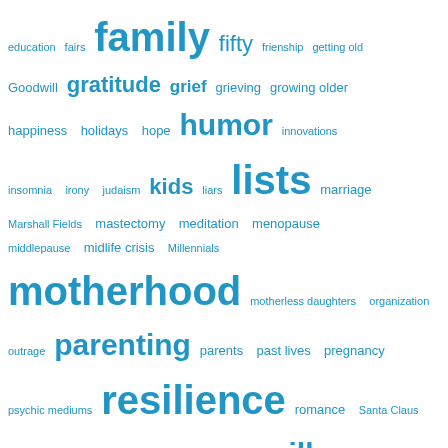[Figure (infographic): Tag cloud with words in varying sizes in blue color. Words include: education, fairs, family, fifty, frienship, getting old, Goodwill, gratitude, grief, grieving, growing older, happiness, holidays, hope, humor, innovations, insomnia, irony, judaism, kids, liars, lists, marriage, Marshall Fields, mastectomy, meditation, menopause, middlepause, midlife crisis, Millennials, motherhood, motherless daughters, organization, outrage, parenting, parents, past lives, pregnancy, psychic mediums, resilience, romance, Santa Claus, second adolescence, shopping, sibling rivalry, silly, simple, solutions, sleep, spiritual gallery, spring cleaning, stress, superheroes, super powers, surgery, swearing, The 1970s, The Easter Bunny, The Tooth Fairy, This Is Us, toys, tweens, Uncategorized, whales, writing, yiddish]